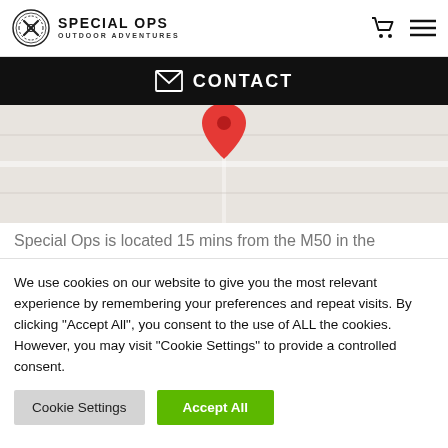SPECIAL OPS OUTDOOR ADVENTURES
CONTACT
[Figure (map): Google Maps-style map with a red location pin marker in the center]
Special Ops is located 15 mins from the M50 in the
We use cookies on our website to give you the most relevant experience by remembering your preferences and repeat visits. By clicking "Accept All", you consent to the use of ALL the cookies. However, you may visit "Cookie Settings" to provide a controlled consent.
Cookie Settings | Accept All